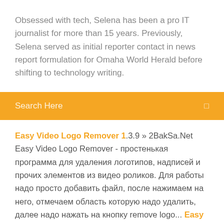Obsessed with tech, Selena has been a pro IT journalist for more than 15 years. Previously, Selena served as initial reporter contact in news report formulation for Omaha World Herald before shifting to technology writing.
Search Here
Easy Video Logo Remover 1.3.9 » 2BakSa.Net Easy Video Logo Remover - простенькая программа для удаления логотипов, надписей и прочих элементов из видео роликов. Для работы надо просто добавить файл, после нажимаем на него, отмечаем область которую надо удалить, далее надо нажать на кнопку remove logo... Easy Video Logo Remover 1.3.9 Free Download | Go AudiO Easy Video Logo Remover serial key is a simple tool that enables you to improve the image in a video file, by removing watermark insertions, such as logos,